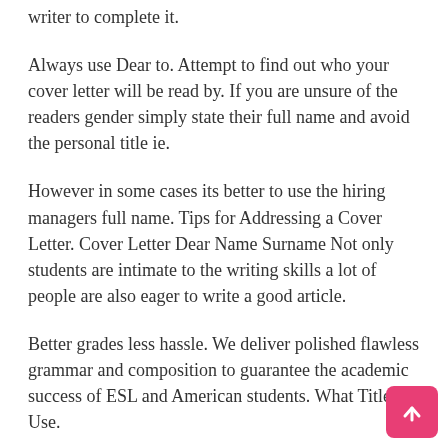writer to complete it.
Always use Dear to. Attempt to find out who your cover letter will be read by. If you are unsure of the readers gender simply state their full name and avoid the personal title ie.
However in some cases its better to use the hiring managers full name. Tips for Addressing a Cover Letter. Cover Letter Dear Name Surname Not only students are intimate to the writing skills a lot of people are also eager to write a good article.
Better grades less hassle. We deliver polished flawless grammar and composition to guarantee the academic success of ESL and American students. What Title to Use.
You should avoid using Dear SirMadam in emails as well as in cover letters. If you are sending your cover letter the old-fashioned way by mail you should also add a handwritten signature after that. Application for a nursing job position I am pleased to write to you regarding a nursing position advertised